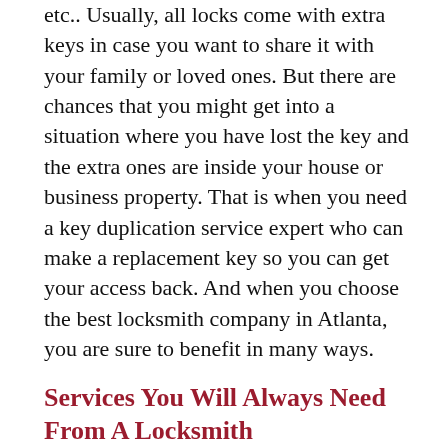etc.. Usually, all locks come with extra keys in case you want to share it with your family or loved ones. But there are chances that you might get into a situation where you have lost the key and the extra ones are inside your house or business property. That is when you need a key duplication service expert who can make a replacement key so you can get your access back. And when you choose the best locksmith company in Atlanta, you are sure to benefit in many ways.
Services You Will Always Need From A Locksmith
Master Lock Rekeying
Lock Repair or Replacement
Keys Duplication
Security Systems